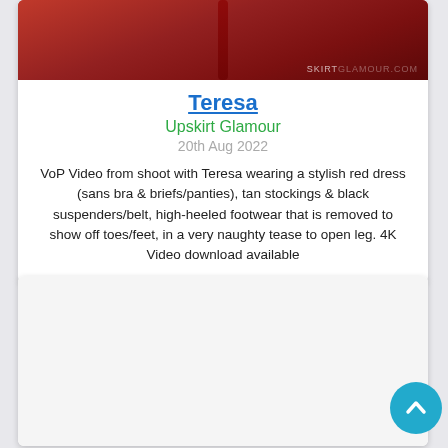[Figure (photo): Partial image of a woman wearing a red dress, cropped at top. Watermark text 'SKIRTGLAMOUR.COM' visible at bottom right of image.]
Teresa
Upskirt Glamour
20th Aug 2022
VoP Video from shoot with Teresa wearing a stylish red dress (sans bra & briefs/panties), tan stockings & black suspenders/belt, high-heeled footwear that is removed to show off toes/feet, in a very naughty tease to open leg. 4K Video download available
[Figure (photo): Second card/thumbnail, content not visible (white/light area)]